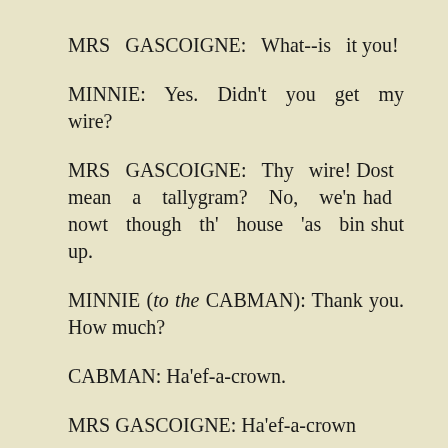MRS GASCOIGNE: What--is it you!
MINNIE: Yes. Didn't you get my wire?
MRS GASCOIGNE: Thy wire! Dost mean a tallygram? No, we'n had nowt though th' house 'as bin shut up.
MINNIE (to the CABMAN): Thank you. How much?
CABMAN: Ha'ef-a-crown.
MRS GASCOIGNE: Ha'ef-a-crown for...